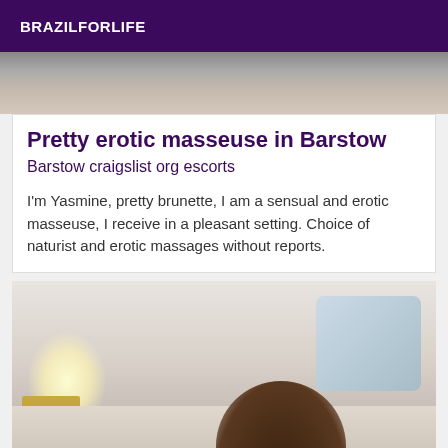BRAZILFORLIFE
[Figure (photo): Partial photo of a person, cropped at top of page]
Pretty erotic masseuse in Barstow
Barstow craigslist org escorts
I'm Yasmine, pretty brunette, I am a sensual and erotic masseuse, I receive in a pleasant setting. Choice of naturist and erotic massages without reports.
[Figure (photo): Photo of a bedroom scene with a person lying on a bed, lamp on nightstand, pillow visible]